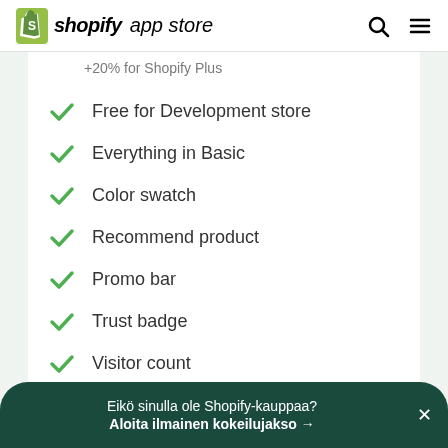shopify app store
+20% for Shopify Plus
Free for Development store
Everything in Basic
Color swatch
Recommend product
Promo bar
Trust badge
Visitor count
Eikö sinulla ole Shopify-kauppaa? Aloita ilmainen kokeilujakso →